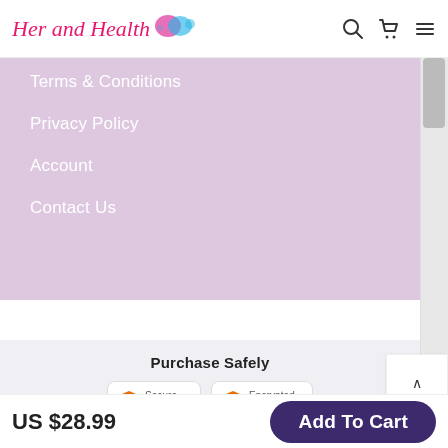Her and Health
Terms & Conditions
Privacy Policy
Account
Contact Us
Purchase Safely
Secure Checkout
Encrypted Information
Convenient Payment
US $28.99
Add To Cart